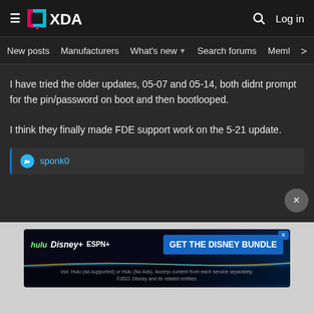XDA Developers — hamburger menu, XDA logo, search icon, Log in
New posts  Manufacturers  What's new ▼  Search forums  Membe  >
I have tried the older updates, 05-07 and 05-14, both didnt prompt for the pin/password on boot and then bootlooped.

I think they finally made FDE support work on the 5-21 update.
sponk0
[Figure (screenshot): Disney Bundle advertisement banner: hulu, Disney+, ESPN+ logos with 'GET THE DISNEY BUNDLE' call to action button and fine print text 'Incl. Hulu (ad-supported) or Hulu (No Ads). Access content from each service separately. ©2021 Disney and its related entities.']